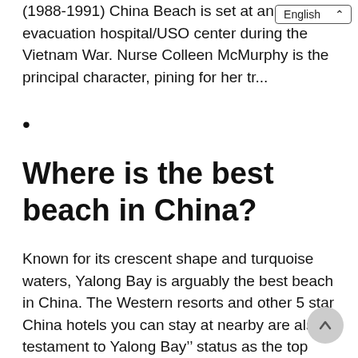(1988-1991) China Beach is set at an evacuation hospital/USO center during the Vietnam War. Nurse Colleen McMurphy is the principal character, pining for her tr...
•
Where is the best beach in China?
Known for its crescent shape and turquoise waters, Yalong Bay is arguably the best beach in China. The Western resorts and other 5 star China hotels you can stay at nearby are also a testament to Yalong Bay’s status as the top beach in China.